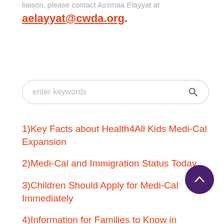liaison, please contact Assmaa Elayyat at
aelayyat@cwda.org.
[Figure (other): Search bar with placeholder text 'enter keywords' and a magnifying glass icon]
1)Key Facts about Health4All Kids Medi-Cal Expansion
2)Medi-Cal and Immigration Status Today
3)Children Should Apply for Medi-Cal Immediately
4)Information for Families to Know in